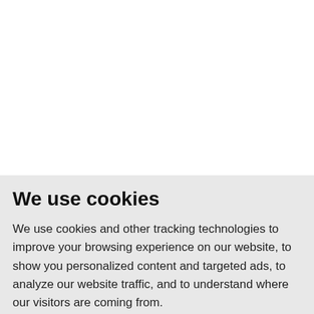tags: parametric equalizer VST
[Figure (screenshot): Product thumbnail showing Blue Cat's Stereo Phase audio plugin interface, dark red/black color scheme with knobs and controls, with 3 filled star ratings and 2 empty stars below]
Blue Cat's Stereo Phase
... mono to wide stereo ph... fully automatable and eas...
We use cookies
We use cookies and other tracking technologies to improve your browsing experience on our website, to show you personalized content and targeted ads, to analyze our website traffic, and to understand where our visitors are coming from.
I agree
Change my preferences